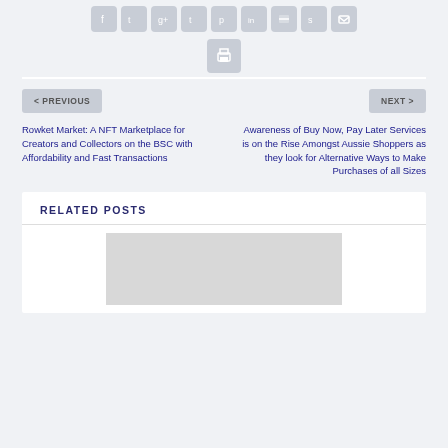[Figure (other): Social media share icons row: Facebook, Twitter, Google+, Tumblr, Pinterest, LinkedIn, Buffer, StumbleUpon, Email]
[Figure (other): Print icon button]
< PREVIOUS
NEXT >
Rowket Market: A NFT Marketplace for Creators and Collectors on the BSC with Affordability and Fast Transactions
Awareness of Buy Now, Pay Later Services is on the Rise Amongst Aussie Shoppers as they look for Alternative Ways to Make Purchases of all Sizes
RELATED POSTS
[Figure (other): Related post thumbnail image placeholder]